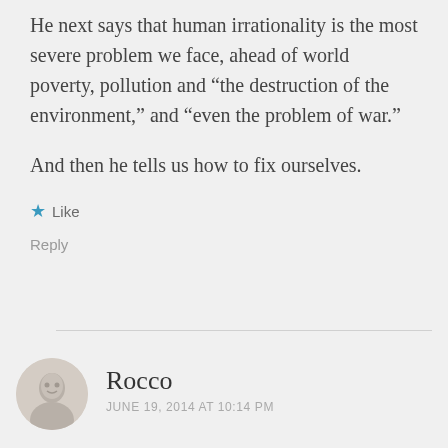He next says that human irrationality is the most severe problem we face, ahead of world poverty, pollution and “the destruction of the environment,” and “even the problem of war.”
And then he tells us how to fix ourselves.
★ Like
Reply
Rocco
JUNE 19, 2014 AT 10:14 PM